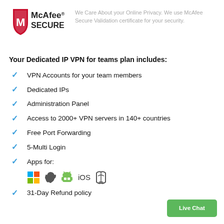[Figure (logo): McAfee Secure logo with red shield and M]
We Care About your Online Privacy. We use McAfee Secure Validation certificate for your security.
Your Dedicated IP VPN for teams plan includes:
VPN Accounts for your team members
Dedicated IPs
Administration Panel
Access to 2000+ VPN servers in 140+ countries
Free Port Forwarding
5-Multi Login
Apps for: Windows, Apple, Android, iOS, Linux
31-Day Refund policy
Live Chat